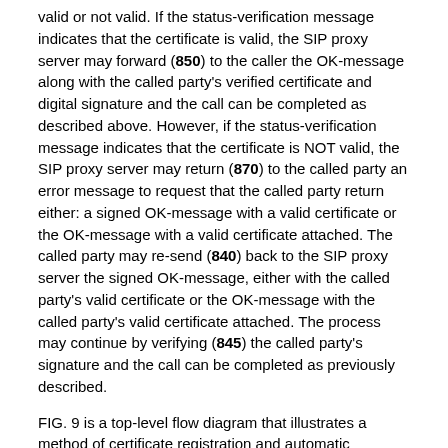valid or not valid. If the status-verification message indicates that the certificate is valid, the SIP proxy server may forward (850) to the caller the OK-message along with the called party's verified certificate and digital signature and the call can be completed as described above. However, if the status-verification message indicates that the certificate is NOT valid, the SIP proxy server may return (870) to the called party an error message to request that the called party return either: a signed OK-message with a valid certificate or the OK-message with a valid certificate attached. The called party may re-send (840) back to the SIP proxy server the signed OK-message, either with the called party's valid certificate or the OK-message with the called party's valid certificate attached. The process may continue by verifying (845) the called party's signature and the call can be completed as previously described.
FIG. 9 is a top-level flow diagram that illustrates a method of certificate registration and automatic retrieval/forwarding and revocation in a VOIP communications, in accordance with an embodiment of the present invention. In FIG. 9, digital voice users and their associated user certificates may be registered (905) to